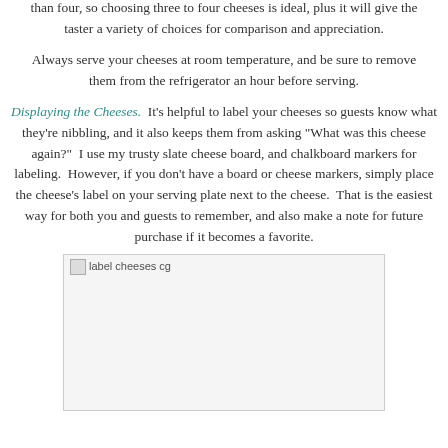than four, so choosing three to four cheeses is ideal, plus it will give the taster a variety of choices for comparison and appreciation.

Always serve your cheeses at room temperature, and be sure to remove them from the refrigerator an hour before serving.
Displaying the Cheeses. It’s helpful to label your cheeses so guests know what they’re nibbling, and it also keeps them from asking “What was this cheese again?” I use my trusty slate cheese board, and chalkboard markers for labeling. However, if you don’t have a board or cheese markers, simply place the cheese’s label on your serving plate next to the cheese. That is the easiest way for both you and guests to remember, and also make a note for future purchase if it becomes a favorite.
[Figure (photo): Image labeled 'label cheeses cg' showing a placeholder for a photo of labeled cheeses on a board]